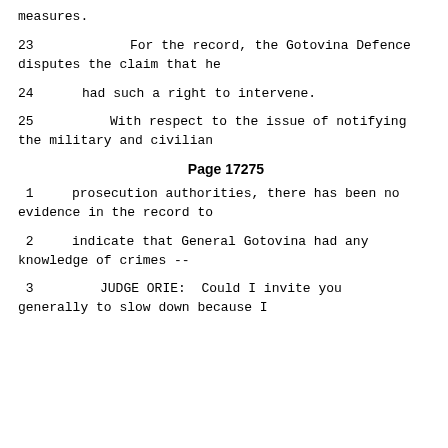measures.
23        For the record, the Gotovina Defence disputes the claim that he
24     had such a right to intervene.
25           With respect to the issue of notifying the military and civilian
Page 17275
1     prosecution authorities, there has been no evidence in the record to
2     indicate that General Gotovina had any knowledge of crimes --
3           JUDGE ORIE:  Could I invite you generally to slow down because I